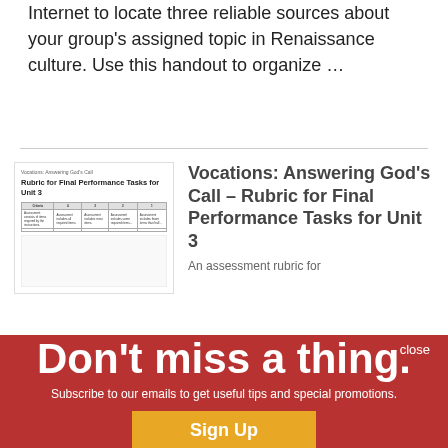Internet to locate three reliable sources about your group's assigned topic in Renaissance culture. Use this handout to organize …
[Figure (screenshot): Thumbnail preview of a document page titled 'Vocations: Answering God's Call – Rubric for Final Performance Tasks for Unit 3', showing a table with criteria and scoring columns.]
Vocations: Answering God's Call – Rubric for Final Performance Tasks for Unit 3
An assessment rubric for
Unit 3 project options a
[Figure (infographic): Red overlay modal with large white text 'Don't miss a thing.' and white subtitle 'Subscribe to our emails to get useful tips and special promotions.' with a gold 'Sign Up' button. A 'close' link appears top right.]
Rubric for Final Performance Tasks for Unit 4
An evaluation rubric for the project ideas from Unit 4 of The Catholic